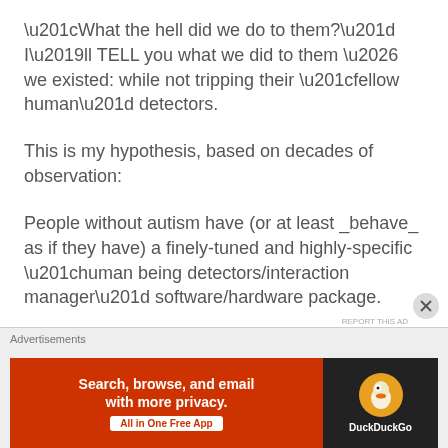“What the hell did we do to them?” I’ll TELL you what we did to them … we existed: while not tripping their “fellow human” detectors.
This is my hypothesis, based on decades of observation:
People without autism have (or at least _behave_ as if they have) a finely-tuned and highly-specific “human being detectors/interaction manager” software/hardware package.
[partial/cut-off text]
Advertisements
[Figure (other): DuckDuckGo advertisement banner: orange/red left section with text 'Search, browse, and email with more privacy.' and 'All in One Free App' button; black right section with DuckDuckGo duck logo and brand name.]